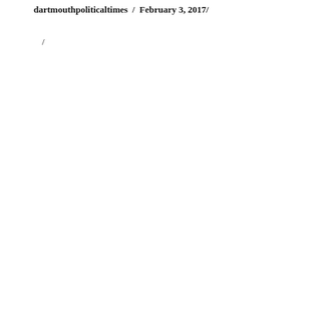dartmouthpoliticaltimes / February 3, 2017/
/